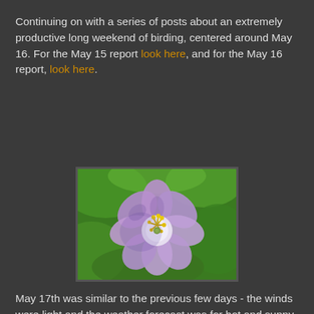Continuing on with a series of posts about an extremely productive long weekend of birding, centered around May 16. For the May 15 report look here, and for the May 16 report, look here.
[Figure (photo): Close-up photograph of a purple/violet wildflower (likely Wild Geranium) with yellow stamens, against a blurred green background.]
May 17th was similar to the previous few days - the winds were light and the weather forecast was for hot and sunny conditions. David Szmyr and I headed out to the tip, though things were rather slow and not much was flying overhead.